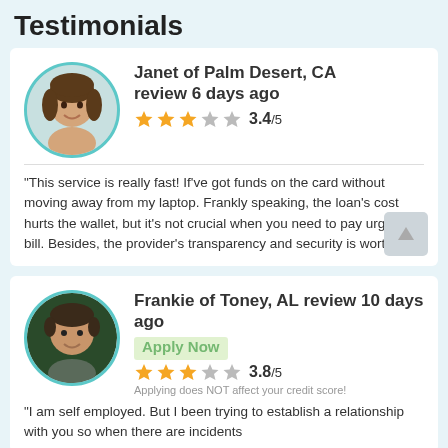Testimonials
Janet of Palm Desert, CA review 6 days ago
3.4/5
"This service is really fast! If've got funds on the card without moving away from my laptop. Frankly speaking, the loan's cost hurts the wallet, but it's not crucial when you need to pay urgent bill. Besides, the provider's transparency and security is worth it."
Frankie of Toney, AL review 10 days ago
3.8/5
"I am self employed. But I been trying to establish a relationship with you so when there are incidents